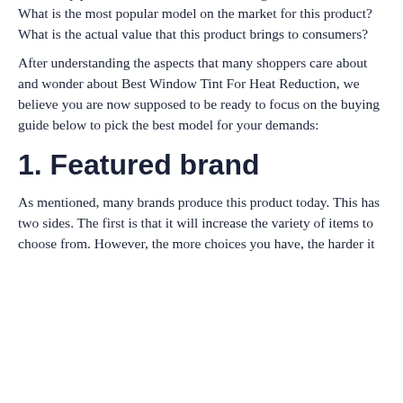Can cheap products be maintained for a long time?
What is the most popular model on the market for this product?
What is the actual value that this product brings to consumers?
After understanding the aspects that many shoppers care about and wonder about Best Window Tint For Heat Reduction, we believe you are now supposed to be ready to focus on the buying guide below to pick the best model for your demands:
1. Featured brand
As mentioned, many brands produce this product today. This has two sides. The first is that it will increase the variety of items to choose from. However, the more choices you have, the harder it